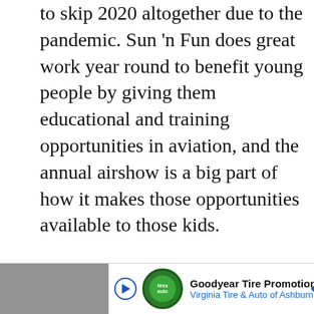to skip 2020 altogether due to the pandemic. Sun 'n Fun does great work year round to benefit young people by giving them educational and training opportunities in aviation, and the annual airshow is a big part of how it makes those opportunities available to those kids.
We just wanted to do what we could to help, and we encourage you to do the same, either by buying one of our special issues, donating to Sun 'n Fun (here's the link) or by doing both.
And if you'd like to subscribe to Plane & Pilot, which offers incredible aviation content from some of the best aviation writers here
[Figure (other): Advertisement banner for Goodyear Tire Promotion by Virginia Tire & Auto of Ashburn, with a green circular logo, blue diamond arrow icon, play button, and close button.]